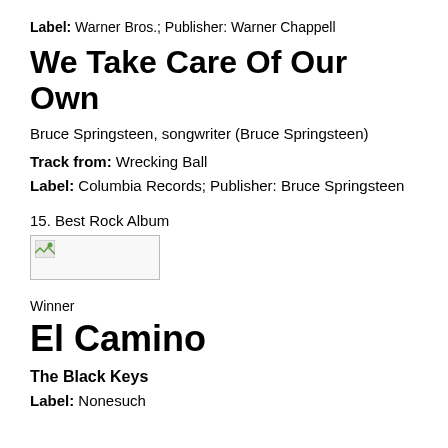Label: Warner Bros.; Publisher: Warner Chappell
We Take Care Of Our Own
Bruce Springsteen, songwriter (Bruce Springsteen)
Track from: Wrecking Ball
Label: Columbia Records; Publisher: Bruce Springsteen
15. Best Rock Album
[Figure (photo): Broken/missing image placeholder]
Winner
El Camino
The Black Keys
Label: Nonesuch